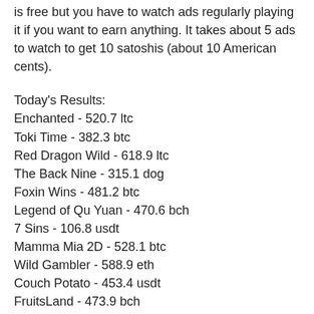is free but you have to watch ads regularly playing it if you want to earn anything. It takes about 5 ads to watch to get 10 satoshis (about 10 American cents).
Today's Results:
Enchanted - 520.7 ltc
Toki Time - 382.3 btc
Red Dragon Wild - 618.9 ltc
The Back Nine - 315.1 dog
Foxin Wins - 481.2 btc
Legend of Qu Yuan - 470.6 bch
7 Sins - 106.8 usdt
Mamma Mia 2D - 528.1 btc
Wild Gambler - 588.9 eth
Couch Potato - 453.4 usdt
FruitsLand - 473.9 bch
Chess Royale - 296.7 eth
Wild West - 301.2 ltc
Cloud Tales - 719.3 usdt
Serengeti Diamonds - 63.7 usdt